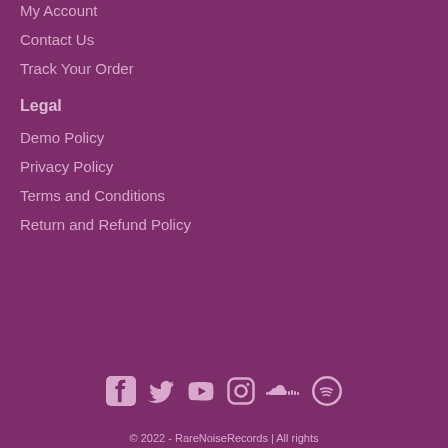My Account
Contact Us
Track Your Order
Legal
Demo Policy
Privacy Policy
Terms and Conditions
Return and Refund Policy
[Figure (other): Social media icons: Facebook, Twitter, YouTube, Instagram, SoundCloud, Spotify]
© 2022 - RareNoiseRecords | All rights